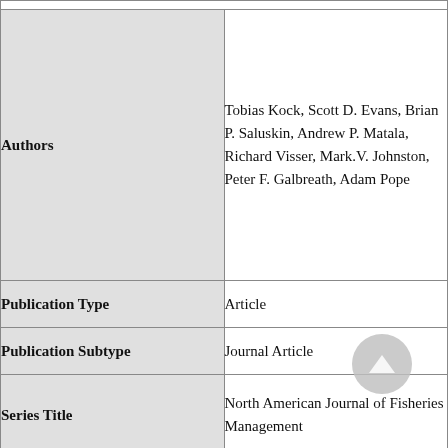| Field | Value |
| --- | --- |
| Authors | Tobias Kock, Scott D. Evans, Brian P. Saluskin, Andrew P. Matala, Richard Visser, Mark.V. Johnston, Peter F. Galbreath, Adam Pope |
| Publication Type | Article |
| Publication Subtype | Journal Article |
| Series Title | North American Journal of Fisheries Management |
| Index ID | 70223233 |